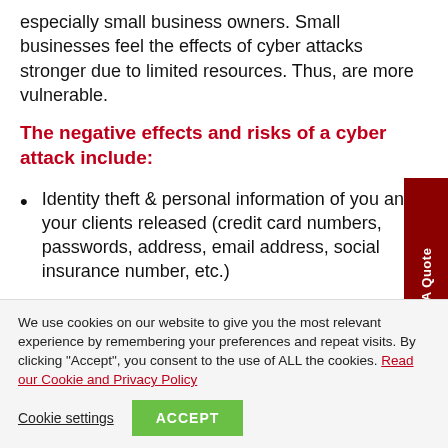especially small business owners. Small businesses feel the effects of cyber attacks stronger due to limited resources. Thus, are more vulnerable.
The negative effects and risks of a cyber attack include:
Identity theft & personal information of you and your clients released (credit card numbers, passwords, address, email address, social insurance number, etc.)
We use cookies on our website to give you the most relevant experience by remembering your preferences and repeat visits. By clicking “Accept”, you consent to the use of ALL the cookies. Read our Cookie and Privacy Policy
Cookie settings | ACCEPT